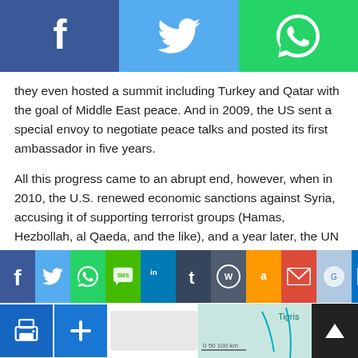[Figure (infographic): Top social share bar with Facebook (blue), Twitter (light blue), and WhatsApp (green) icons]
they even hosted a summit including Turkey and Qatar with the goal of Middle East peace. And in 2009, the US sent a special envoy to negotiate peace talks and posted its first ambassador in five years.
All this progress came to an abrupt end, however, when in 2010, the U.S. renewed economic sanctions against Syria, accusing it of supporting terrorist groups (Hamas, Hezbollah, al Qaeda, and the like), and a year later, the UN basically said the same thing.
Remember part of the Arab Spring in early 2011, when Egypt protested and successfully changed its governments' regime? Well, that gave Syrian civilians courage to try and do the same. Unfortunately, though, the Syrian government did not respond
[Figure (infographic): Bottom social share bar with multiple icons: Facebook, Twitter, WhatsApp, SMS, LinkedIn, Tumblr, WordPress, Amazon, Gmail, and more. Below that: print, add buttons, blank box, and a partial map showing Tigris river area.]